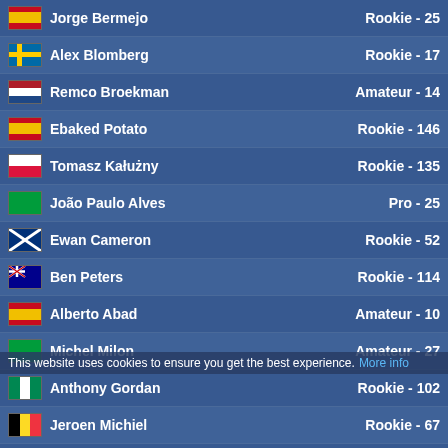Jorge Bermejo — Rookie - 25
Alex Blomberg — Rookie - 17
Remco Broekman — Amateur - 14
Ebaked Potato — Rookie - 146
Tomasz Kalużny — Rookie - 135
João Paulo Alves — Pro - 25
Ewan Cameron — Rookie - 52
Ben Peters — Rookie - 114
Alberto Abad — Amateur - 10
Michel Milon — Amateur - 27
Anthony Gordan — Rookie - 102
Jeroen Michiel — Rookie - 67
Josef Florian Sedlmeier — Rookie - 123
Manu Clar — Rookie - 9
Alberto Garces — Rookie - 85
Martin Barcon — Rookie - 146
Paul Gleysteen — Amateur - 2
Dani Barreno — Rookie - 71
Caswan Docari — Rookie - 27
Alexandr Baturov — Rookie - 62
Cristian Monzani — Rookie - 118
Ja Cy — Retired
Viktor Zhevakov — Rookie - 134
Jose Cuervo — Amateur - 53
This website uses cookies to ensure you get the best experience. More info